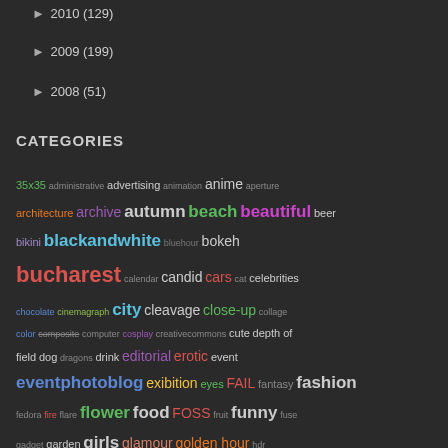► 2010 (129)
► 2009 (199)
► 2008 (51)
CATEGORIES
35x35 administrative advertising animation anime aperture architecture archive autumn beach beautiful beer bikini blackandwhite bluehour bokeh bucharest calendar candid cars cat celebrities chocolate cinemagraph city cleavage close-up collage color composite computer cosplay creativecommons cute depth of field dog dragons drink editorial erotic event eventphotoblog exibition eyes FAIL fantasy fashion fedora fire flare flower food FOSS fruit funny fuse gadget garden girls glamour golden hour hdr history illustration India industrial insect kids learning love macro marketplace meat mit mountains music nature night NSFW nude panorama panty parade parenting photo photographer photojournalism photomanipulation pinup